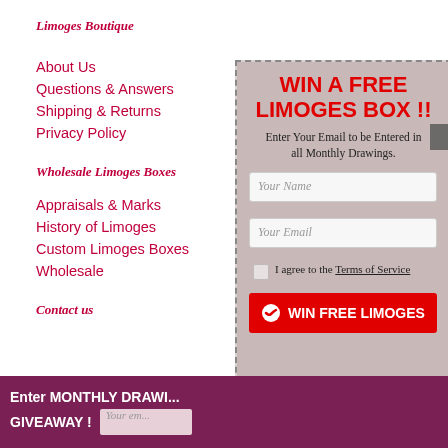Limoges Boutique
About Us
Questions & Answers
Shipping & Returns
Privacy Policy
Wholesale Limoges Boxes
Appraisals & Marks
History of Limoges
Custom Limoges Boxes
Wholesale
Contact us
[Figure (infographic): Popup modal with dashed border on a decorative background showing a giveaway form: WIN A FREE LIMOGES BOX !! headline in red, entry text, name and email input fields, checkbox for Terms of Service agreement, and a red WIN FREE LIMOGES button.]
WIN A FREE LIMOGES BOX !!
Enter Your Email to be Entered in all Monthly Drawings.
Your Name
Your Email
I agree to the Terms of Service
WIN FREE LIMOGES
Enter MONTHLY DRAWING GIVEAWAY !  Your em...